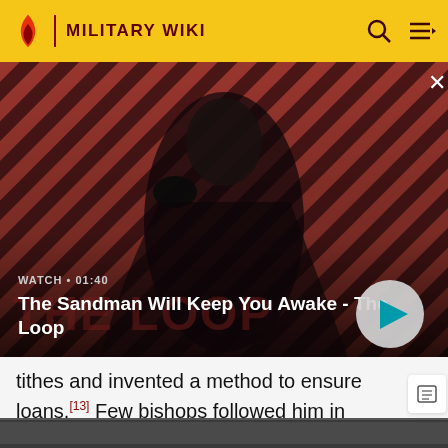MILITARY WIKI
[Figure (screenshot): Video thumbnail for 'The Sandman Will Keep You Awake - The Loop' showing a dark figure with a raven on a striped red/black background. Watch duration: 01:40]
WATCH • 01:40
The Sandman Will Keep You Awake - The Loop
tithes and invented a method to ensure loans.[13] Few bishops followed him in obedience to the new decree, much of the French clergy came to view him as schismatic.[14]
[Figure (photo): Partial image strip at bottom of page]